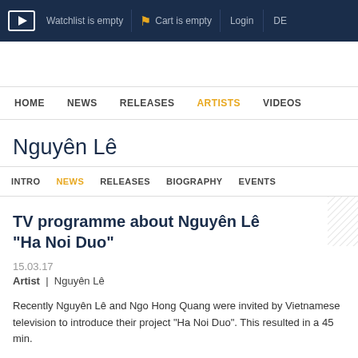Watchlist is empty  Cart is empty  Login  DE
HOME  NEWS  RELEASES  ARTISTS  VIDEOS
Nguyên Lê
INTRO  NEWS  RELEASES  BIOGRAPHY  EVENTS
TV programme about Nguyên Lê "Ha Noi Duo"
15.03.17
Artist  |  Nguyên Lê
Recently Nguyên Lê and Ngo Hong Quang were invited by Vietnamese television to introduce their project "Ha Noi Duo". This resulted in a 45 min.